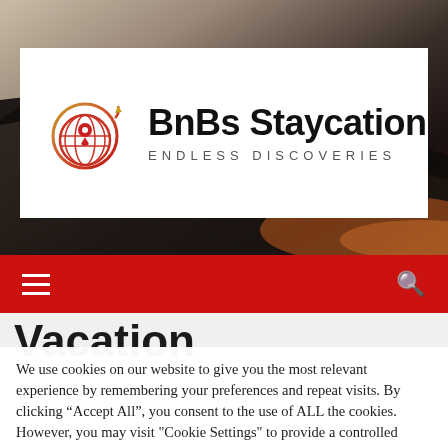[Figure (photo): Airplane wing silhouette against a warm sunset sky, dark tones with orange glow at horizon]
[Figure (logo): BnBs Staycation logo: globe with location pin icon in red-orange-yellow gradient, text 'BnBs Staycation' in bold black, subtitle 'ENDLESS DISCOVERIES' in spaced gray caps]
Vacation
We use cookies on our website to give you the most relevant experience by remembering your preferences and repeat visits. By clicking “Accept All”, you consent to the use of ALL the cookies. However, you may visit "Cookie Settings" to provide a controlled consent.